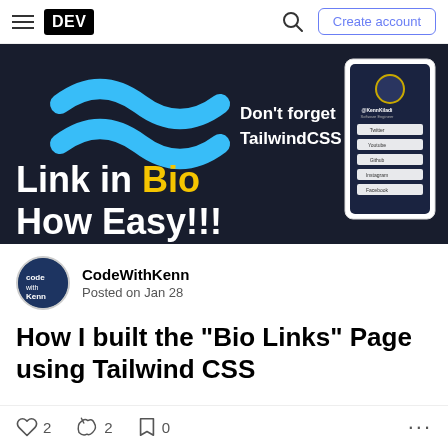DEV — Create account
[Figure (illustration): Hero banner for a 'Link in Bio How Easy!!!' article. Dark background with teal wave shapes (Tailwind CSS logo area), white bold text 'Don't forget TailwindCSS', large white/yellow text 'Link in Bio How Easy!!!', and a phone mockup showing a bio links page on the right.]
CodeWithKenn
Posted on Jan 28
How I built the "Bio Links" Page using Tailwind CSS
2 reactions  2 comments  0 bookmarks